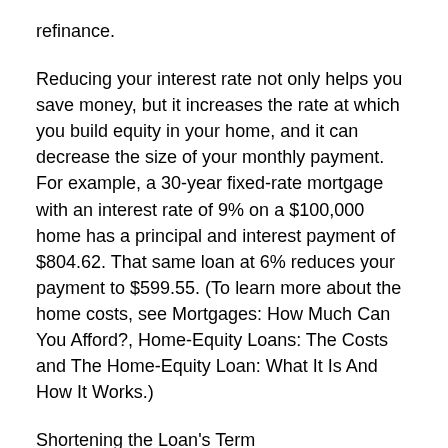refinance.
Reducing your interest rate not only helps you save money, but it increases the rate at which you build equity in your home, and it can decrease the size of your monthly payment. For example, a 30-year fixed-rate mortgage with an interest rate of 9% on a $100,000 home has a principal and interest payment of $804.62. That same loan at 6% reduces your payment to $599.55. (To learn more about the home costs, see Mortgages: How Much Can You Afford?, Home-Equity Loans: The Costs and The Home-Equity Loan: What It Is And How It Works.)
Shortening the Loan’s Term
When interest rates fall, homeowners often have the opportunity to refinance an existing loan for another loan that, without much change in the monthly payment, has a